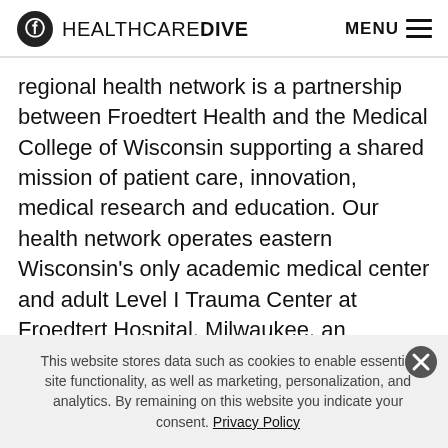HEALTHCARE DIVE   MENU
regional health network is a partnership between Froedtert Health and the Medical College of Wisconsin supporting a shared mission of patient care, innovation, medical research and education. Our health network operates eastern Wisconsin's only academic medical center and adult Level I Trauma Center at Froedtert Hospital, Milwaukee, an internationally recognized training and research center engaged in thousands of clinical trials and studies. The Froedtert & MCW health network, which
This website stores data such as cookies to enable essential site functionality, as well as marketing, personalization, and analytics. By remaining on this website you indicate your consent. Privacy Policy